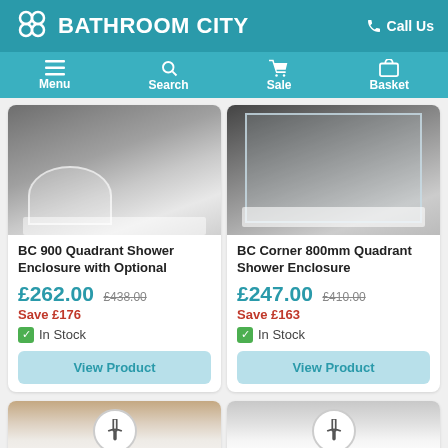BATHROOM CITY — Call Us
[Figure (screenshot): Navigation bar with Menu, Search, Sale, Basket icons]
[Figure (photo): BC 900 Quadrant Shower Enclosure product photo showing quadrant shower enclosure with marble floor]
BC 900 Quadrant Shower Enclosure with Optional
£262.00 £438.00 Save £176 ✓ In Stock
View Product
[Figure (photo): BC Corner 800mm Quadrant Shower Enclosure product photo showing corner shower unit with white tray]
BC Corner 800mm Quadrant Shower Enclosure
£247.00 £410.00 Save £163 ✓ In Stock
View Product
[Figure (photo): Partial bottom product card left — bathroom image partially visible]
[Figure (photo): Partial bottom product card right — bathroom image partially visible]